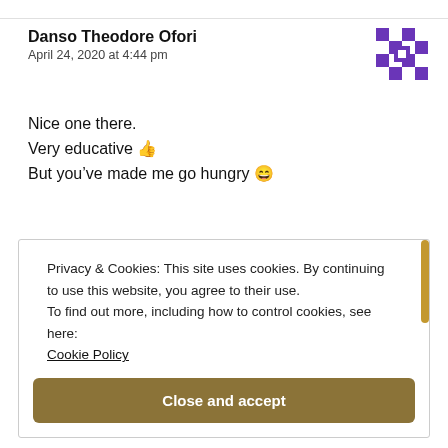Danso Theodore Ofori
April 24, 2020 at 4:44 pm
Nice one there.
Very educative 👍
But you've made me go hungry 😄
★ Like
Privacy & Cookies: This site uses cookies. By continuing to use this website, you agree to their use.
To find out more, including how to control cookies, see here:
Cookie Policy
Close and accept